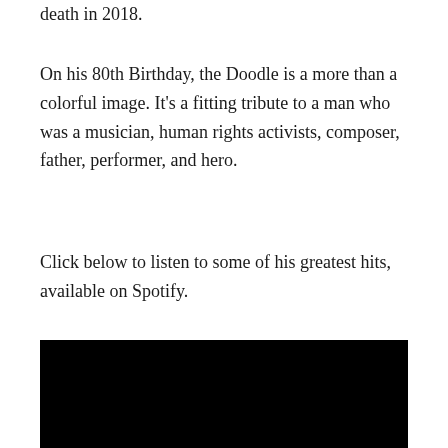death in 2018.
On his 80th Birthday, the Doodle is a more than a colorful image. It's a fitting tribute to a man who was a musician, human rights activists, composer, father, performer, and hero.
Click below to listen to some of his greatest hits, available on Spotify.
[Figure (other): Black rectangle representing an embedded media player or video embed area]